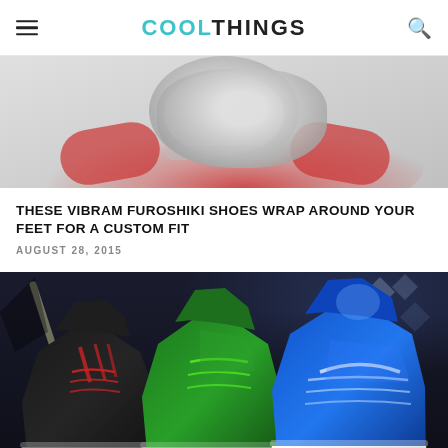COOL THINGS
[Figure (photo): Person in red shirt holding up a white/grey Vibram Furoshiki shoe toward the camera, light grey background]
THESE VIBRAM FUROSHIKI SHOES WRAP AROUND YOUR FEET FOR A CUSTOM FIT
AUGUST 28, 2015
[Figure (photo): Three Nike basketball sneakers (LeBron X) in black/red, green, and blue colorways displayed against a dark dramatic background with geometric diamond shapes]